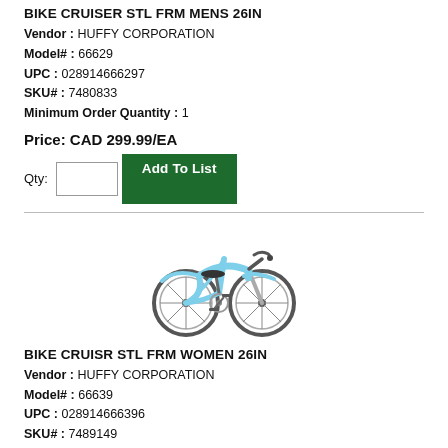BIKE CRUISER STL FRM MENS 26IN
Vendor : HUFFY CORPORATION
Model# : 66629
UPC : 028914666297
SKU# : 7480833
Minimum Order Quantity : 1
Price: CAD 299.99/EA
[Figure (illustration): Light blue women's cruiser bicycle with swept-back handlebars and wide tires, facing right]
BIKE CRUISR STL FRM WOMEN 26IN
Vendor : HUFFY CORPORATION
Model# : 66639
UPC : 028914666396
SKU# : 7489149